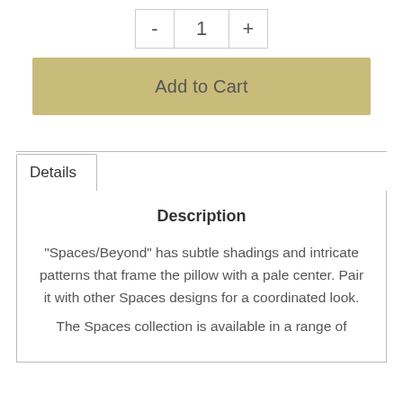[Figure (other): Quantity selector with minus button, value '1', and plus button]
[Figure (other): Add to Cart button with tan/khaki background]
[Figure (other): Details tab panel with Description heading and product text]
Description
"Spaces/Beyond" has subtle shadings and intricate patterns that frame the pillow with a pale center. Pair it with other Spaces designs for a coordinated look.
The Spaces collection is available in a range of